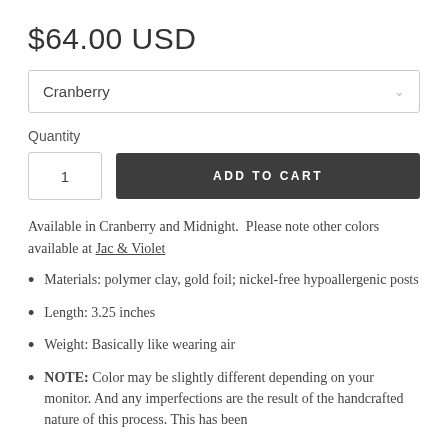$64.00 USD
Cranberry
Quantity
1
ADD TO CART
Available in Cranberry and Midnight.  Please note other colors available at Jac & Violet
Materials: polymer clay, gold foil; nickel-free hypoallergenic posts
Length: 3.25 inches
Weight: Basically like wearing air
NOTE: Color may be slightly different depending on your monitor. And any imperfections are the result of the handcrafted nature of this process. This has been